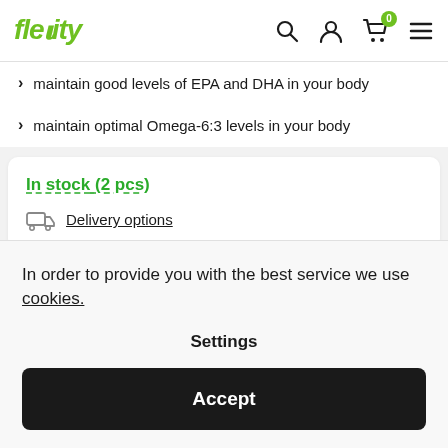Flexity — navigation bar with logo, search, user, cart (0 items), menu
maintain good levels of EPA and DHA in your body
maintain optimal Omega-6:3 levels in your body
In stock (2 pcs)
Delivery options
In order to provide you with the best service we use cookies.
Settings
Accept